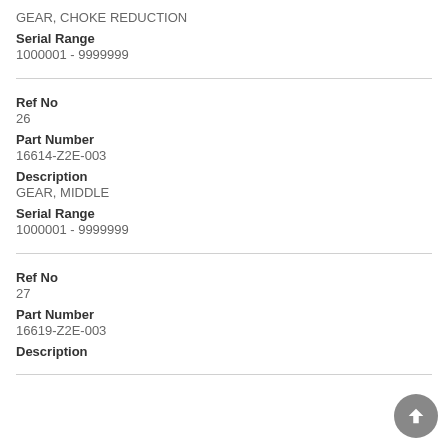GEAR, CHOKE REDUCTION
Serial Range
1000001 - 9999999
Ref No
26
Part Number
16614-Z2E-003
Description
GEAR, MIDDLE
Serial Range
1000001 - 9999999
Ref No
27
Part Number
16619-Z2E-003
Description